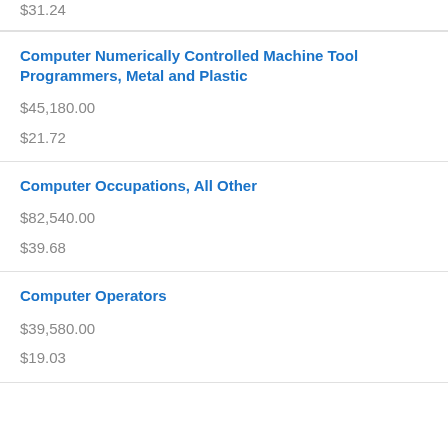$31.24
Computer Numerically Controlled Machine Tool Programmers, Metal and Plastic
$45,180.00
$21.72
Computer Occupations, All Other
$82,540.00
$39.68
Computer Operators
$39,580.00
$19.03